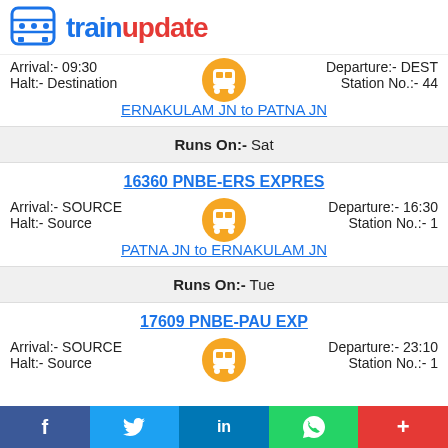trainupdate
Arrival:- 09:30   Departure:- DEST
Halt:- Destination   Station No.:- 44
ERNAKULAM JN to PATNA JN
Runs On:- Sat
16360 PNBE-ERS EXPRES
Arrival:- SOURCE   Departure:- 16:30
Halt:- Source   Station No.:- 1
PATNA JN to ERNAKULAM JN
Runs On:- Tue
17609 PNBE-PAU EXP
Arrival:- SOURCE   Departure:- 23:10
Halt:- Source   Station No.:- 1